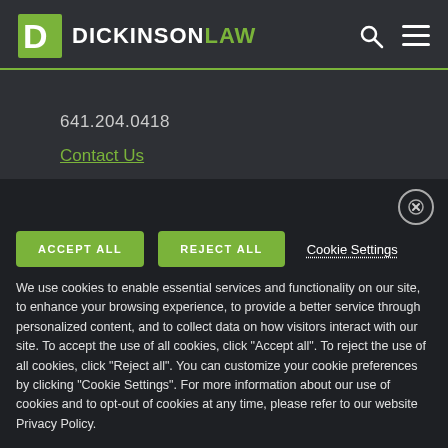DICKINSONLAW
641.204.0418
Contact Us
CONNECT WITH US
ACCEPT ALL
REJECT ALL
Cookie Settings
We use cookies to enable essential services and functionality on our site, to enhance your browsing experience, to provide a better service through personalized content, and to collect data on how visitors interact with our site. To accept the use of all cookies, click "Accept all". To reject the use of all cookies, click "Reject all". You can customize your cookie preferences by clicking "Cookie Settings". For more information about our use of cookies and to opt-out of cookies at any time, please refer to our website Privacy Policy.